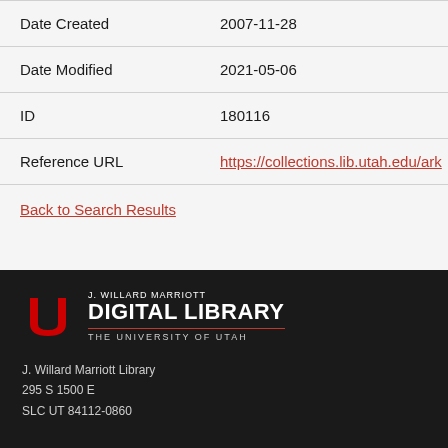| Field | Value |
| --- | --- |
| Date Created | 2007-11-28 |
| Date Modified | 2021-05-06 |
| ID | 180116 |
| Reference URL | https://collections.lib.utah.edu/ark |
Back to Search Results
[Figure (logo): J. Willard Marriott Digital Library, The University of Utah logo]
J. Willard Marriott Library
295 S 1500 E
SLC UT 84112-0860